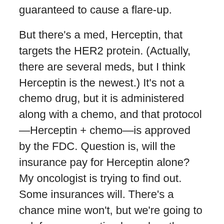guaranteed to cause a flare-up.
But there’s a med, Herceptin, that targets the HER2 protein. (Actually, there are several meds, but I think Herceptin is the newest.) It’s not a chemo drug, but it is administered along with a chemo, and that protocol—Herceptin + chemo—is approved by the FDC. Question is, will the insurance pay for Herceptin alone? My oncologist is trying to find out. Some insurances will. There’s a chance mine won’t, but we’re going to ask for an exception based on the Crohn’s problem. Trust me. This has been a slow process.
But that’s not all
Radiation is a definite must, along with a drug like Tamoxifen, which targets the hormone receptors (the ER...